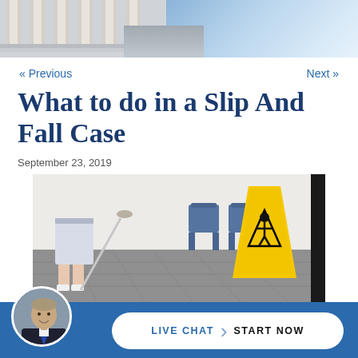[Figure (photo): Top banner showing courthouse columns on left and blue sky on right]
« Previous
Next »
What to do in a Slip And Fall Case
September 23, 2019
[Figure (photo): Photo of a custodian mopping a floor with a yellow wet floor caution sign visible, blue chairs in background]
LIVE CHAT  START NOW